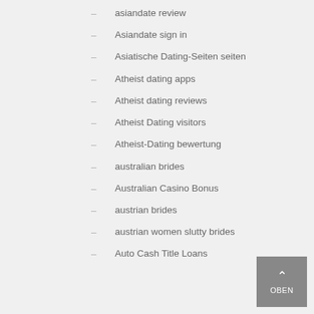– asiandate review
– Asiandate sign in
– Asiatische Dating-Seiten seiten
– Atheist dating apps
– Atheist dating reviews
– Atheist Dating visitors
– Atheist-Dating bewertung
– australian brides
– Australian Casino Bonus
– austrian brides
– austrian women slutty brides
– Auto Cash Title Loans